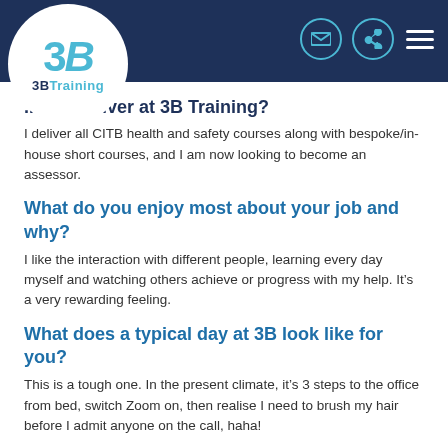3B Training header navigation
you deliver at 3B Training?
I deliver all CITB health and safety courses along with bespoke/in-house short courses, and I am now looking to become an assessor.
What do you enjoy most about your job and why?
I like the interaction with different people, learning every day myself and watching others achieve or progress with my help. It’s a very rewarding feeling.
What does a typical day at 3B look like for you?
This is a tough one. In the present climate, it’s 3 steps to the office from bed, switch Zoom on, then realise I need to brush my hair before I admit anyone on the call, haha!
A typical day for me is getting up and being better than I was the day before.
If you could introduce a new training course, what would it be?